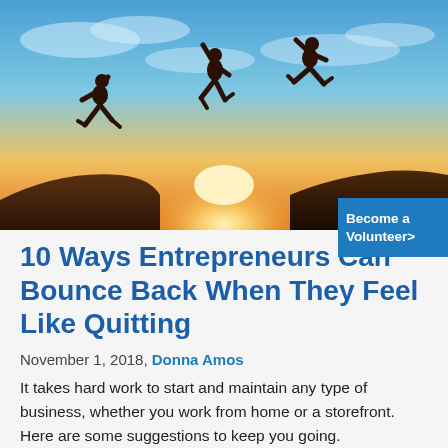[Figure (photo): Three silhouetted people leaping across a rocky cliff against a bright sunset sky with blue tones and warm orange light.]
10 Ways Entrepreneurs Can Bounce Back When They Feel Like Quitting
November 1, 2018, Donna Amos
It takes hard work to start and maintain any type of business, whether you work from home or a storefront. Here are some suggestions to keep you going.